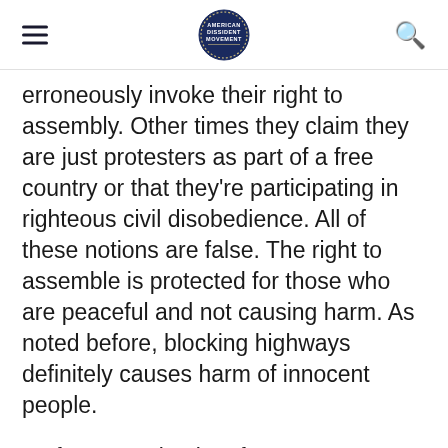American Dissident Movement (logo)
erroneously invoke their right to assembly. Other times they claim they are just protesters as part of a free country or that they're participating in righteous civil disobedience. All of these notions are false. The right to assemble is protected for those who are peaceful and not causing harm. As noted before, blocking highways definitely causes harm of innocent people.
As for protesting in a free country or practicing civil disobedience, the fools at Black Lives Matter or other radical groups do not seem to realize that these are personal acts. Protesting is voicing an opinion and that opinion ends here...